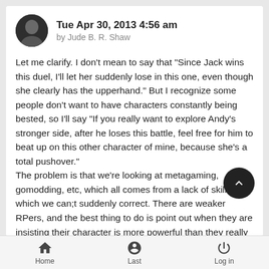Tue Apr 30, 2013 4:56 am by Jude B. R. Shaw
Let me clarify. I don't mean to say that "Since Jack wins this duel, I'll let her suddenly lose in this one, even though she clearly has the upperhand." But I recognize some people don't want to have characters constantly being bested, so I'll say "If you really want to explore Andy's stronger side, after he loses this battle, feel free for him to beat up on this other character of mine, because she's a total pushover."
The problem is that we're looking at metagaming, gomodding, etc, which all comes from a lack of skill, which we can;t suddenly correct. There are weaker RPers, and the best thing to do is point out when they are insisting their character is more powerful than they really are.
Home  Last  Log in